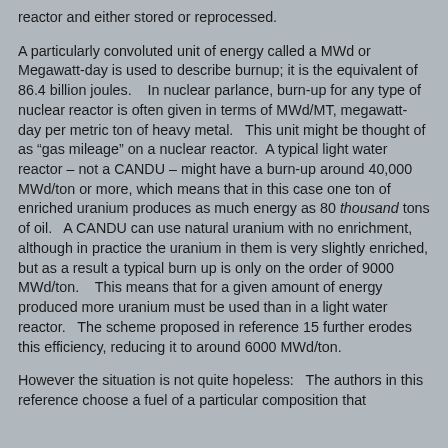reactor and either stored or reprocessed.
A particularly convoluted unit of energy called a MWd or Megawatt-day is used to describe burnup; it is the equivalent of 86.4 billion joules.    In nuclear parlance, burn-up for any type of nuclear reactor is often given in terms of MWd/MT, megawatt-day per metric ton of heavy metal.   This unit might be thought of as “gas mileage” on a nuclear reactor.   A typical light water reactor – not a CANDU – might have a burn-up around 40,000 MWd/ton or more, which means that in this case one ton of enriched uranium produces as much energy as 80 thousand tons of oil.   A CANDU can use natural uranium with no enrichment, although in practice the uranium in them is very slightly enriched, but as a result a typical burn up is only on the order of 9000 MWd/ton.    This means that for a given amount of energy produced more uranium must be used than in a light water reactor.   The scheme proposed in reference 15 further erodes this efficiency, reducing it to around 6000 MWd/ton.
However the situation is not quite hopeless:   The authors in this reference choose a fuel of a particular composition that